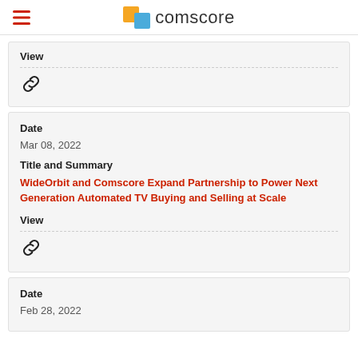comscore
View
[Figure (other): Chain link icon representing a hyperlink]
Date
Mar 08, 2022
Title and Summary
WideOrbit and Comscore Expand Partnership to Power Next Generation Automated TV Buying and Selling at Scale
View
[Figure (other): Chain link icon representing a hyperlink]
Date
Feb 28, 2022